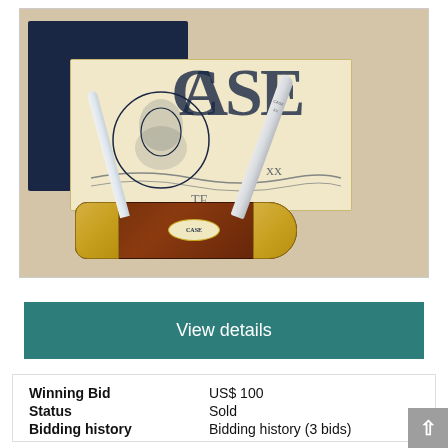[Figure (photo): A Case XX pocket knife with brown jigged bone handles and brass bolsters, open with two blades deployed, resting on its original Case packaging box with the bearded man logo visible on the cream-colored inner box, set against a natural fiber/burlap background.]
View details
| Winning Bid | US$ 100 |
| Status | Sold |
| Bidding history | Bidding history (3 bids) |